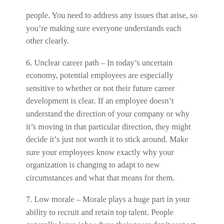people. You need to address any issues that arise, so you're making sure everyone understands each other clearly.
6. Unclear career path – In today's uncertain economy, potential employees are especially sensitive to whether or not their future career development is clear. If an employee doesn't understand the direction of your company or why it's moving in that particular direction, they might decide it's just not worth it to stick around. Make sure your employees know exactly why your organization is changing to adapt to new circumstances and what that means for them.
7. Low morale – Morale plays a huge part in your ability to recruit and retain top talent. People generally leave jobs where their peers don't respect them. Also, people